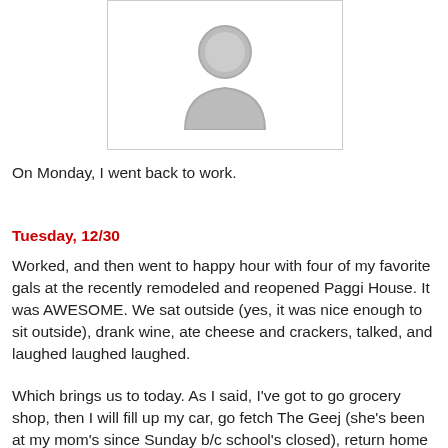[Figure (illustration): Placeholder avatar image showing a generic grey person silhouette icon inside a white box with a light grey border]
On Monday, I went back to work.
Tuesday, 12/30
Worked, and then went to happy hour with four of my favorite gals at the recently remodeled and reopened Paggi House. It was AWESOME. We sat outside (yes, it was nice enough to sit outside), drank wine, ate cheese and crackers, talked, and laughed laughed laughed.
Which brings us to today. As I said, I've got to go grocery shop, then I will fill up my car, go fetch The Geej (she's been at my mom's since Sunday b/c school's closed), return home